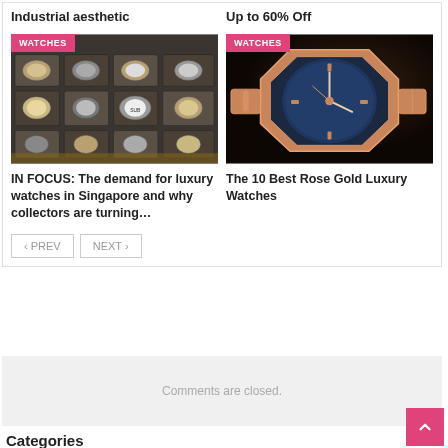Industrial aesthetic
Up to 60% Off
[Figure (photo): A tray of luxury watches displayed in compartments]
[Figure (photo): A rose gold luxury watch with blue dial on dark background]
IN FOCUS: The demand for luxury watches in Singapore and why collectors are turning…
The 10 Best Rose Gold Luxury Watches
Comments are closed.
Categories